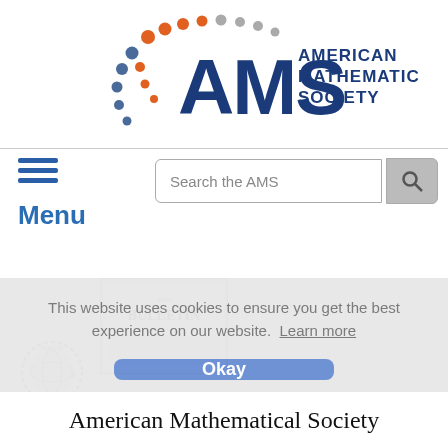[Figure (logo): AMS (American Mathematical Society) logo with colorful dots arc and blue text]
[Figure (screenshot): Search bar with magnifying glass button labeled 'Search the AMS']
[Figure (infographic): Blue hamburger menu icon (three horizontal lines)]
Menu
[Figure (photo): Bulletin of the AMS journal cover image]
[Figure (logo): Remote Access circular logo with globe]
This website uses cookies to ensure you get the best experience on our website.  Learn more
[Figure (other): Okay button (blue rounded rectangle)]
American Mathematical Society